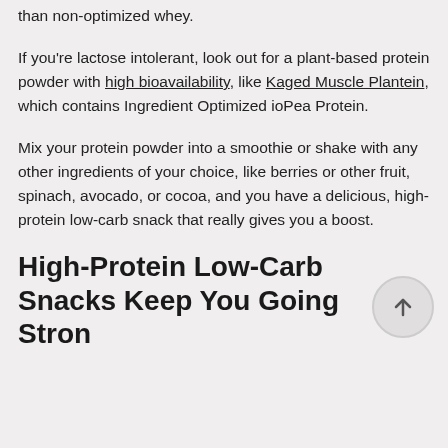than non-optimized whey.
If you're lactose intolerant, look out for a plant-based protein powder with high bioavailability, like Kaged Muscle Plantein, which contains Ingredient Optimized ioPea Protein.
Mix your protein powder into a smoothie or shake with any other ingredients of your choice, like berries or other fruit, spinach, avocado, or cocoa, and you have a delicious, high-protein low-carb snack that really gives you a boost.
High-Protein Low-Carb Snacks Keep You Going Strong